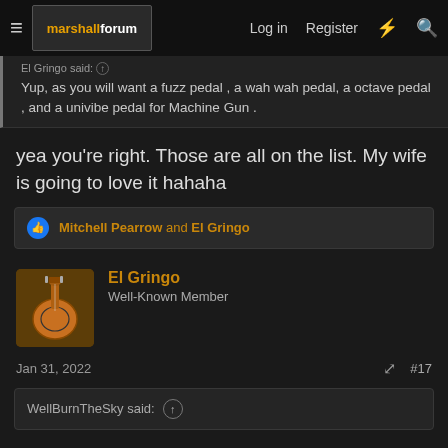marshallforum — Log in  Register
Yup, as you will want a fuzz pedal , a wah wah pedal, a octave pedal , and a univibe pedal for Machine Gun .
yea you're right. Those are all on the list. My wife is going to love it hahaha
Mitchell Pearrow and El Gringo
El Gringo
Well-Known Member
Jan 31, 2022  #17
WellBurnTheSky said: